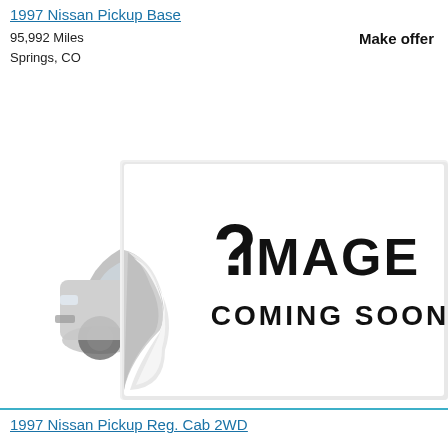1997 Nissan Pickup Base
95,992 Miles
Springs, CO
Make offer
[Figure (photo): Image coming soon placeholder with a partial car image on the left and a curled paper effect revealing the text '? IMAGE COMING SOON' in bold black letters on white background.]
1997 Nissan Pickup Reg. Cab 2WD